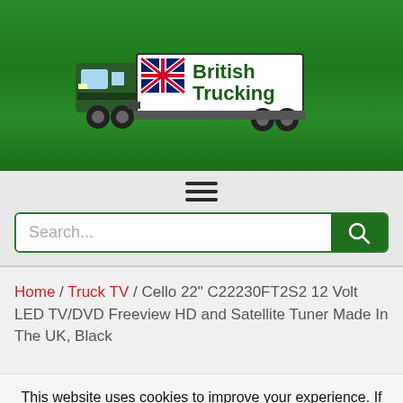[Figure (logo): British Trucking website logo: green truck with Union Jack flag and 'British Trucking' text on white banner, set on green gradient background]
[Figure (other): Hamburger menu icon (three horizontal lines) and search bar with magnifying glass button]
Home / Truck TV / Cello 22" C22230FT2S2 12 Volt LED TV/DVD Freeview HD and Satellite Tuner Made In The UK, Black
This website uses cookies to improve your experience. If you are happy with this press accept, but you can opt-out if you wish. Accept Reject Privacy Policy